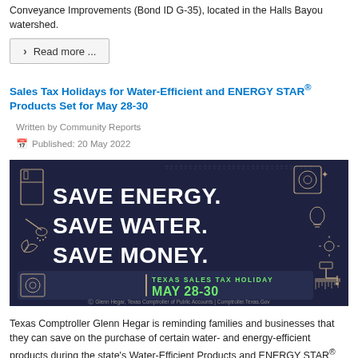Conveyance Improvements (Bond ID G-35), located in the Halls Bayou watershed.
Read more ...
Sales Tax Holidays for Water-Efficient and ENERGY STAR® Products Set for May 28-30
Written by Community Reports
Published: 20 May 2022
[Figure (infographic): Dark navy background infographic with bold white text reading SAVE ENERGY. SAVE WATER. SAVE MONEY. with a green banner at the bottom reading Texas Sales Tax Holiday May 28-30. Line-art icons of appliances (refrigerator, washer, shower head, light bulbs, etc.) are scattered throughout. Footer text: Glenn Hegar, Texas Comptroller of Public Accounts | Comptroller.Texas.Gov]
Texas Comptroller Glenn Hegar is reminding families and businesses that they can save on the purchase of certain water- and energy-efficient products during the state's Water-Efficient Products and ENERGY STAR® sales tax holidays.